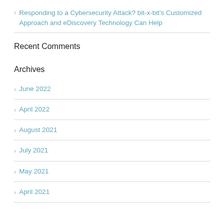Responding to a Cybersecurity Attack? bit-x-bit's Customized Approach and eDiscovery Technology Can Help
Recent Comments
Archives
June 2022
April 2022
August 2021
July 2021
May 2021
April 2021